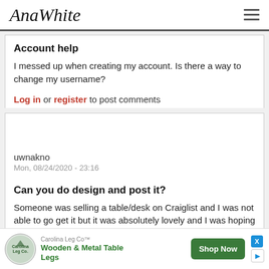AnaWhite
Account help
I messed up when creating my account. Is there a way to change my username?
Log in or register to post comments
uwnakno
Mon, 08/24/2020 - 23:16
Can you do design and post it?
Someone was selling a table/desk on Craiglist and I was not able to go get it but it was absolutely lovely and I was hoping you could design something like it. I don't kind be
[Figure (infographic): Carolina Leg Co advertisement banner with logo, Wooden & Metal Table Legs text, and Shop Now button]